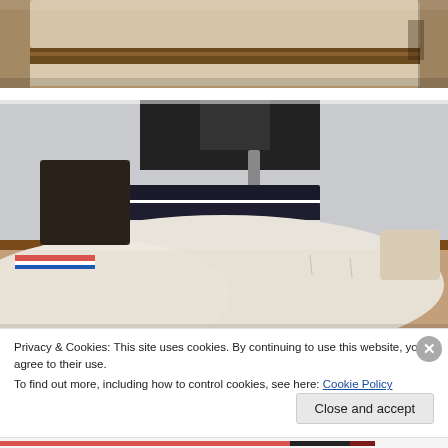[Figure (photo): Partial view of a vintage sewing machine or wooden desk surface with fabric, warm brown tones, cropped at top]
[Figure (photo): Sewing machine needle pressing down on white fabric with stacked books (dark covers) used as a weight, brown wooden table surface, craft/sewing context]
Privacy & Cookies: This site uses cookies. By continuing to use this website, you agree to their use.
To find out more, including how to control cookies, see here: Cookie Policy